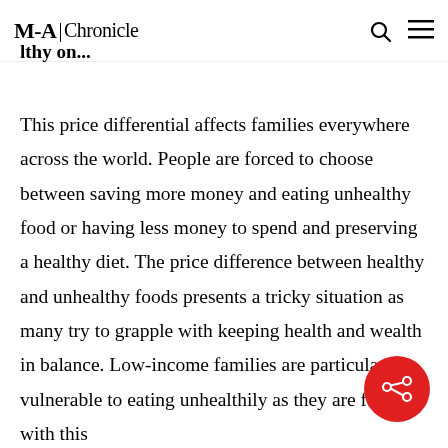M-A | Chronicle
This price differential affects families everywhere across the world. People are forced to choose between saving more money and eating unhealthy food or having less money to spend and preserving a healthy diet. The price difference between healthy and unhealthy foods presents a tricky situation as many try to grapple with keeping health and wealth in balance. Low-income families are particularly vulnerable to eating unhealthily as they are faced with this